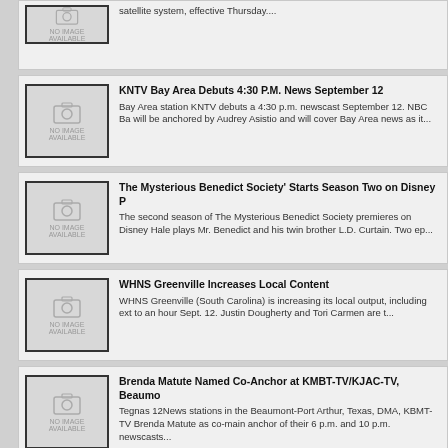[Figure (other): News article thumbnail placeholder with camera icon and 'NO IMAGE AVAILABLE' text]
satellite system, effective Thursday....
[Figure (other): News article thumbnail placeholder with camera icon and 'NO IMAGE AVAILABLE' text]
KNTV Bay Area Debuts 4:30 P.M. News September 12
Bay Area station KNTV debuts a 4:30 p.m. newscast September 12. NBC Ba will be anchored by Audrey Asistio and will cover Bay Area news as it...
[Figure (other): News article thumbnail placeholder with camera icon and 'NO IMAGE AVAILABLE' text]
The Mysterious Benedict Society' Starts Season Two on Disney P
The second season of The Mysterious Benedict Society premieres on Disney Hale plays Mr. Benedict and his twin brother L.D. Curtain. Two ep...
[Figure (other): News article thumbnail placeholder with camera icon and 'NO IMAGE AVAILABLE' text]
WHNS Greenville Increases Local Content
WHNS Greenville (South Carolina) is increasing its local output, including ext to an hour Sept. 12. Justin Dougherty and Tori Carmen are t...
[Figure (other): News article thumbnail placeholder with camera icon and 'NO IMAGE AVAILABLE' text]
Brenda Matute Named Co-Anchor at KMBT-TV/KJAC-TV, Beaumo
Tegnas 12News stations in the Beaumont-Port Arthur, Texas, DMA, KBMT-TV Brenda Matute as co-main anchor of their 6 p.m. and 10 p.m. newscasts...
[Figure (other): News article thumbnail placeholder with camera icon and 'NO IMAGE AVAILABLE' text]
Top Disney General Entertainment Executives Promoted in Shuff
Disney General Entertainment said it promoted three senior executives in a m under chairman Dana Walden....
[Figure (other): News article thumbnail placeholder with camera icon and 'NO IMAGE AVAILABLE' text]
NAB to Honor Ryan Seacrest with Distinguished Service Award
WASHINGTON Award-winning media and entertainment entrepreneur, radio host and producer Ryan Seacrest will receive the 2022 National Asso...